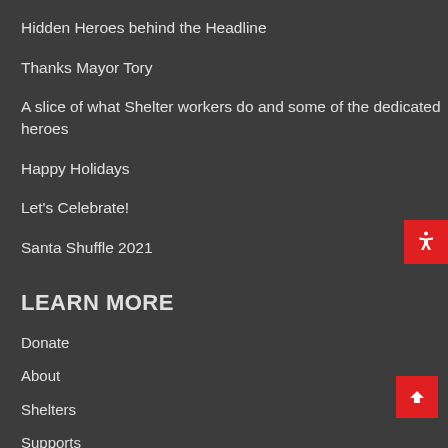Hidden Heroes behind the Headline
Thanks Mayor Tory
A slice of what Shelter workers do and some of the dedicated heroes
Happy Holidays
Let's Celebrate!
Santa Shuffle 2021
LEARN MORE
Donate
About
Shelters
Supports
Careers
Contact Us
Staff Portal